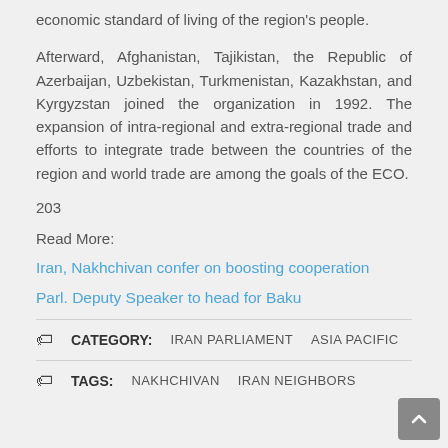economic standard of living of the region's people.
Afterward, Afghanistan, Tajikistan, the Republic of Azerbaijan, Uzbekistan, Turkmenistan, Kazakhstan, and Kyrgyzstan joined the organization in 1992. The expansion of intra-regional and extra-regional trade and efforts to integrate trade between the countries of the region and world trade are among the goals of the ECO.
203
Read More:
Iran, Nakhchivan confer on boosting cooperation
Parl. Deputy Speaker to head for Baku
CATEGORY:   IRAN PARLIAMENT   ASIA PACIFIC
TAGS:   NAKHCHIVAN   IRAN NEIGHBORS